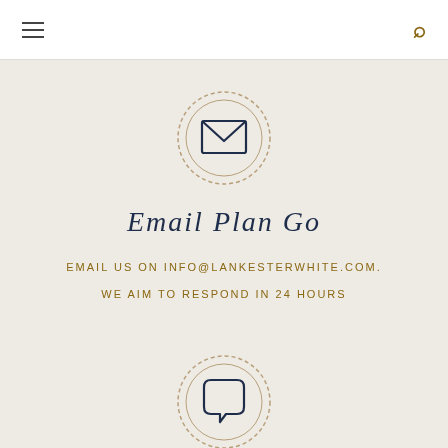[Figure (illustration): Navigation bar with hamburger menu icon on left and search icon on right]
[Figure (illustration): Circular dashed-border icon containing an envelope/email symbol in dark navy]
Email Plan Go
EMAIL US ON INFO@LANKESTERWHITE.COM. WE AIM TO RESPOND IN 24 HOURS
[Figure (illustration): Circular dashed-border icon containing a speech bubble/chat symbol in dark navy]